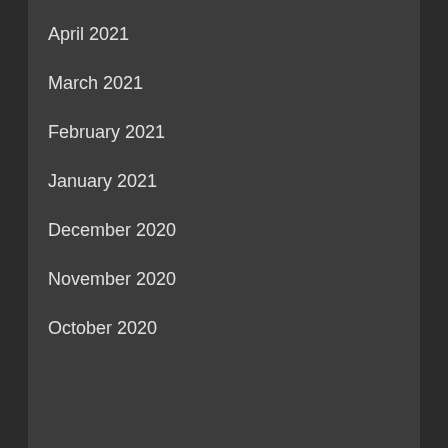April 2021
March 2021
February 2021
January 2021
December 2020
November 2020
October 2020
YOU MAY HAVE MISSED